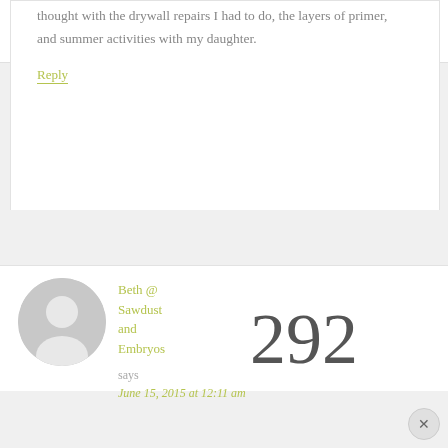HOME   ABOUT   TUTORIALS   RECIPES
thought with the drywall repairs I had to do, the layers of primer, and summer activities with my daughter.
Reply
Beth @ Sawdust and Embryos
292
says
June 15, 2015 at 12:11 am